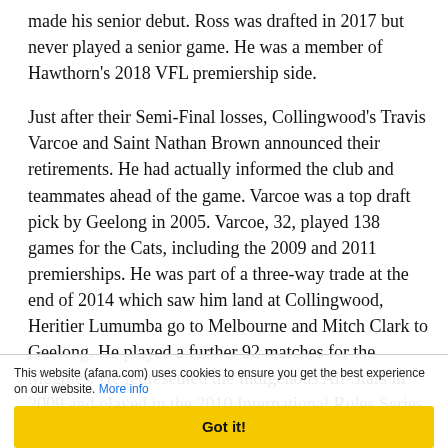made his senior debut. Ross was drafted in 2017 but never played a senior game. He was a member of Hawthorn's 2018 VFL premiership side.
Just after their Semi-Final losses, Collingwood's Travis Varcoe and Saint Nathan Brown announced their retirements. He had actually informed the club and teammates ahead of the game. Varcoe was a top draft pick by Geelong in 2005. Varcoe, 32, played 138 games for the Cats, including the 2009 and 2011 premierships. He was part of a three-way trade at the end of 2014 which saw him land at Collingwood, Heritier Lumumba go to Melbourne and Mitch Clark to Geelong. He played a further 92 matches for the Magpies. He represented the Indigenous All-Stars in 2009 and played in the 2010 International Rules Series.
Varcoe said, "I've run my race. I don't have another season left in the tank. I leave feeling very fortunate and thankful for the two wonderful clubs, Geelong and Collingwood, did for me and my family. I hope I was able to give something back.... As a footballer, you don't do it alone on or off the"
This website (afana.com) uses cookies to ensure you get the best experience on our website. More info
Got it!